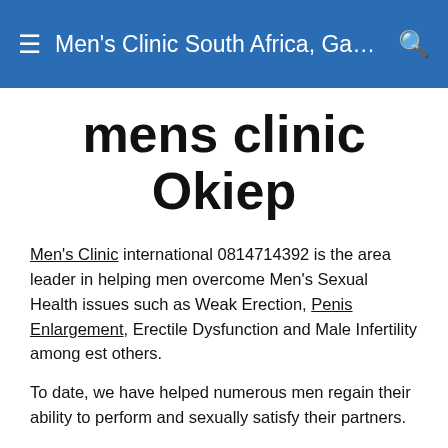Men's Clinic South Africa, Gauteng, Joh...
mens clinic Okiep
Men's Clinic international 0814714392 is the area leader in helping men overcome Men's Sexual Health issues such as Weak Erection, Penis Enlargement, Erectile Dysfunction and Male Infertility among est others.
To date, we have helped numerous men regain their ability to perform and sexually satisfy their partners.
We offer a unique cutting edge perspective and a professional service that is coupled with over 2 decades of experience and extensive knowledge of